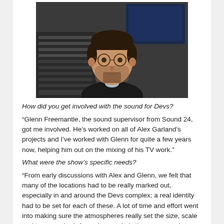[Figure (photo): Portrait photo of a man with round glasses, short dark hair and beard, wearing a black sweater, seated in front of audio mixing equipment and monitors]
How did you get involved with the sound for Devs?
“Glenn Freemantle, the sound supervisor from Sound 24, got me involved. He’s worked on all of Alex Garland’s projects and I’ve worked with Glenn for quite a few years now, helping him out on the mixing of his TV work.”
What were the show’s specific needs?
“From early discussions with Alex and Glenn, we felt that many of the locations had to be really marked out, especially in and around the Devs complex; a real identity had to be set for each of these. A lot of time and effort went into making sure the atmospheres really set the size, scale and tone required. A good example is the vacuum, where the inner Devs chamber exists — this had to impart a sense of scale and isolation — in keeping with the incredible set design.